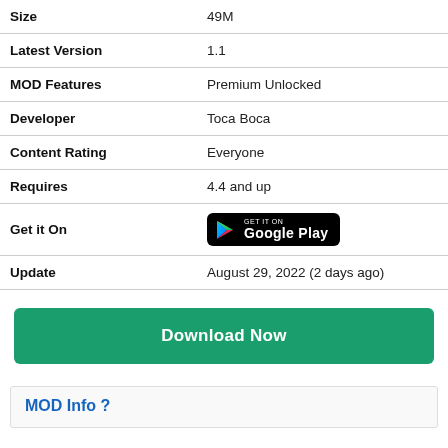| Size | 49M |
| Latest Version | 1.1 |
| MOD Features | Premium Unlocked |
| Developer | Toca Boca |
| Content Rating | Everyone |
| Requires | 4.4 and up |
| Get it On | [Google Play button] |
| Update | August 29, 2022 (2 days ago) |
[Figure (other): Download Now button — green rounded rectangle]
MOD Info ?